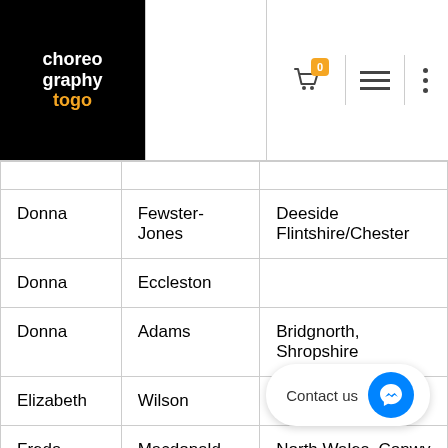choreography to go — navigation header with logo, cart, menu icons
| Donna | Fewster-Jones | Deeside Flintshire/Chester |
| Donna | Eccleston |  |
| Donna | Adams | Bridgnorth, Shropshire |
| Elizabeth | Wilson |  |
| Freda | Macdonald | North Wales, Conwy and Anglesey |
| Heather | Pring |  |
| Helen | Warner |  |
| Ileen | Bannerman |  |
| Jackie | Daly |  |
| Jilly | Bromage |  |